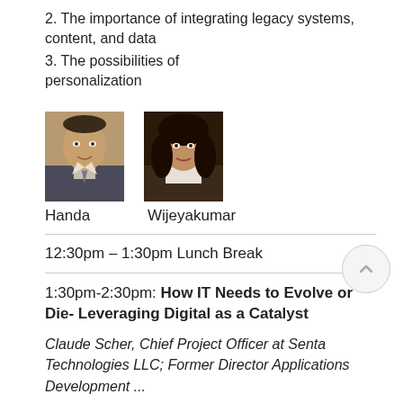2. The importance of integrating legacy systems, content, and data
3. The possibilities of personalization
[Figure (photo): Headshots of two speakers: Handa (man in suit) and Wijeyakumar (woman)]
Handa    Wijeyakumar
12:30pm – 1:30pm Lunch Break
1:30pm-2:30pm: How IT Needs to Evolve or Die- Leveraging Digital as a Catalyst
Claude Scher, Chief Project Officer at Senta Technologies LLC; Former Director Applications Development ...